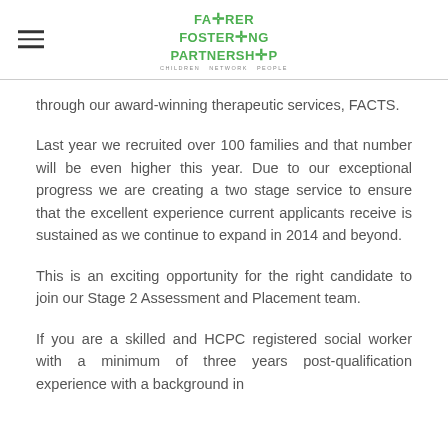Fairer Fostering Partnership — Children. Network. People.
through our award-winning therapeutic services, FACTS.
Last year we recruited over 100 families and that number will be even higher this year. Due to our exceptional progress we are creating a two stage service to ensure that the excellent experience current applicants receive is sustained as we continue to expand in 2014 and beyond.
This is an exciting opportunity for the right candidate to join our Stage 2 Assessment and Placement team.
If you are a skilled and HCPC registered social worker with a minimum of three years post-qualification experience with a background in